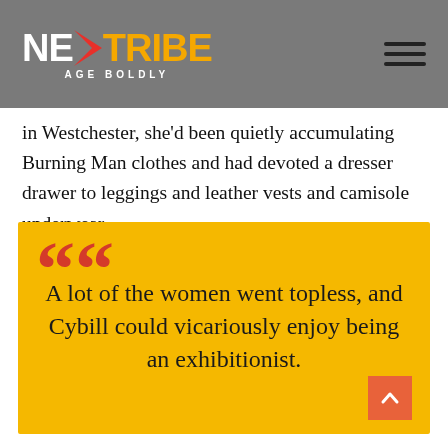NEXTTRIBE AGE BOLDLY
in Westchester, she'd been quietly accumulating Burning Man clothes and had devoted a dresser drawer to leggings and leather vests and camisole underwear.
A lot of the women went topless, and Cybill could vicariously enjoy being an exhibitionist.